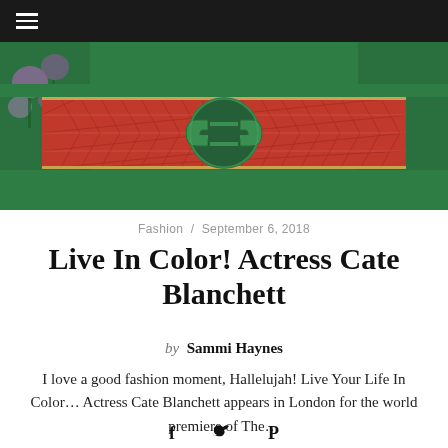≡
[Figure (photo): Close-up photo of a person wearing a green outfit with a wide red patterned belt featuring a large green Gucci GG logo buckle. Purple flowers visible in background.]
Fashion / September 6, 2018
Live In Color! Actress Cate Blanchett
by Sammi Haynes
I love a good fashion moment, Hallelujah! Live Your Life In Color… Actress Cate Blanchett appears in London for the world premiere of The…
[Figure (other): Social media share icons: Facebook (f), Twitter (bird), Pinterest (P)]